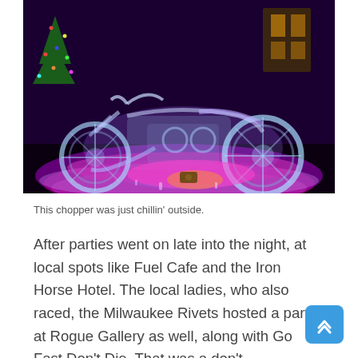[Figure (photo): A detailed ice sculpture of a chopper motorcycle lit with purple and pink lights, displayed outdoors at night. A Christmas tree is visible in the background.]
This chopper was just chillin' outside.
After parties went on late into the night, at local spots like Fuel Cafe and the Iron Horse Hotel. The local ladies, who also raced, the Milwaukee Rivets hosted a party at Rogue Gallery as well, along with Go Fast Don't Die. That was a don't-